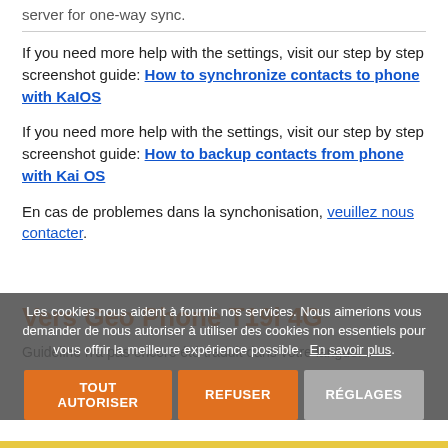server for one-way sync.
If you need more help with the settings, visit our step by step screenshot guide: How to synchronize contacts to phone with KaiOS
If you need more help with the settings, visit our step by step screenshot guide: How to backup contacts from phone with Kai OS
En cas de problemes dans la synchonisation, veuillez nous contacter.
Les cookies nous aident à fournir nos services. Nous aimerions vous demander de nous autoriser à utiliser des cookies non essentiels pour vous offrir la meilleure expérience possible. En savoir plus.
Vers Geo Phone T19i 4G
Guideline n'a pas encore été traduit dans votre langue.